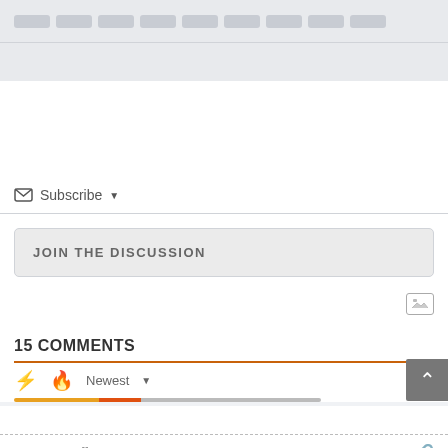[Figure (screenshot): Top navigation bar with pill-shaped category buttons in gray]
Subscribe ▼
JOIN THE DISCUSSION
[Figure (other): Image upload icon (photo frame icon)]
15 COMMENTS
⚡ 🔥 Newest ▼
RANDY  share  🔗